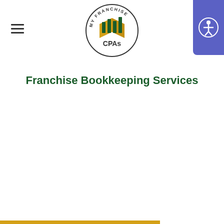[Figure (logo): My Franchise CPAs circular logo with green and yellow book/chart icon and 'CPAs' text]
Franchise Bookkeeping Services